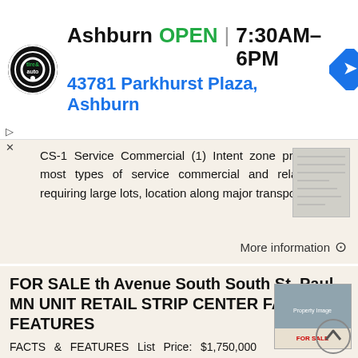[Figure (other): Ad banner with tire and auto shop logo for Ashburn location showing OPEN status and hours 7:30AM-6PM, address 43781 Parkhurst Plaza, Ashburn, with navigation arrow icon]
CS-1 Service Commercial (1) Intent zone provides for most types of service commercial and related uses requiring large lots, location along major transportation
More information →
FOR SALE th Avenue South South St. Paul, MN UNIT RETAIL STRIP CENTER FACTS & FEATURES
FACTS & FEATURES List Price: $1,750,000 Price Per Square Foot: $41..82 41,846 Total Square Feet Lot Acreage: 4.207 Acres Year Built: 1960 Re-Development Opportunity Great Visibility & Easy Access Ample